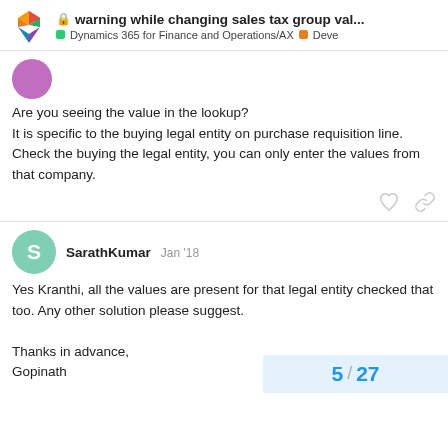warning while changing sales tax group val... | Dynamics 365 for Finance and Operations/AX | Deve
Are you seeing the value in the lookup?
It is specific to the buying legal entity on purchase requisition line.
Check the buying the legal entity, you can only enter the values from that company.
SarathKumar  Jan '18
Yes Kranthi, all the values are present for that legal entity checked that too. Any other solution please suggest.

Thanks in advance,
Gopinath
5 / 27